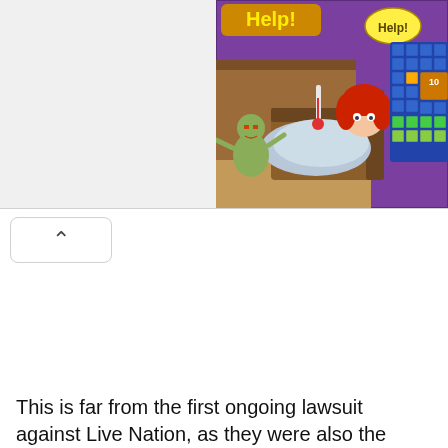[Figure (screenshot): A mobile game screenshot showing a zombie/hospital themed puzzle game. Purple background with 'Help!' text in yellow, a cartoon zombie and a sick red-haired woman in bed, with a game grid/board on the right side.]
[Figure (other): A collapse/expand toggle button showing an upward-pointing chevron (^) inside a rounded rectangle, positioned on the left below the ad image.]
This is far from the first ongoing lawsuit against Live Nation, as they were also the